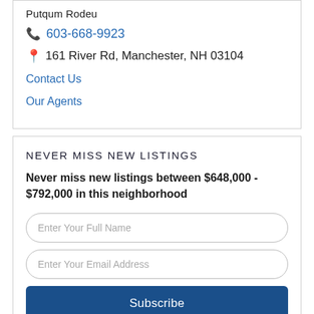Putqum Rodeu
603-668-9923
161 River Rd, Manchester, NH 03104
Contact Us
Our Agents
Never Miss New Listings
Never miss new listings between $648,000 - $792,000 in this neighborhood
Enter Your Full Name
Enter Your Email Address
Subscribe
We will never spam you or sell your details. You can unsubscribe whenever you like.